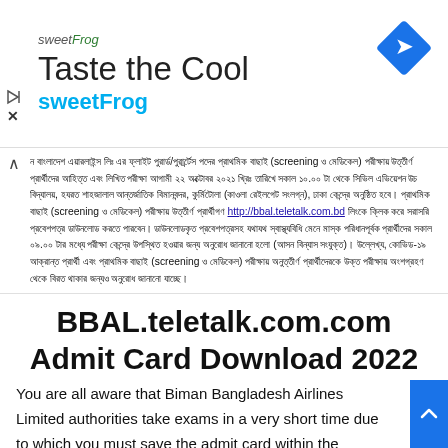[Figure (advertisement): sweetFrog advertisement banner with logo, 'Taste the Cool' headline, sweetFrog tagline, and a blue diamond navigation icon]
বাংলাদেশ এয়ারলাইন্স লিঃ এর ফ্লাইট পুরার্ড/পুরার্র্টেস পদের প্রাথমিক বাছাই (screening ও মেডিকেল) পরীক্ষায় উত্তীর্ণ প্রার্থীদের আহিত্ত এবং লিখিত পরীক্ষা আগামী ২২ অক্টোবর ২০২১ খ্রিঃ তারিখে সকাল ১০.০০ টা থেকে সিভিল এভিয়েশন উচ বিদ্যালয়, হযরত শাহজালাল আন্তর্জাতিক বিমানবন্দর, কুর্মিটোলা (কাওলা রেলগেট সংলগ্ন), ঢাকা কেন্দ্রে অনুষ্ঠিত হবে। প্রাথমিক বাছাই (screening ও মেডিকেল) পরীক্ষায় উত্তীর্ণ প্রার্থীগণ http://bbal.teletalk.com.bd লিংকে ক্লিক করে সরাসরি প্রবেশপত্র ডাউনলোড করতে পারবেন। ডাউনলোডকৃত প্রবেশপত্রসহ যথাযথ স্বাস্থ্যবিধি মেনে মাস্ক পরিধানপূর্বক প্রার্থীদের সকাল ০৯.০০ টার মধ্যে পরীক্ষা কেন্দ্রে উপস্থিত হওয়ার জন্য অনুরোধ জানানো হলো (আসন বিন্যাস সংযুক্ত)। উল্লেখ্য, কোভিড-১৯ আক্রান্ত প্রার্থী এবং প্রাথমিক বাছাই (screening ও মেডিকেল) পরীক্ষায় অনুত্তীর্ণ প্রার্থীদেরকে উক্ত পরীক্ষায় অংশগ্রহণ থেকে বিরত থাকার জন্যও অনুরোধ জানানো যাচ্ছে।
BBAL.teletalk.com.com Admit Card Download 2022
You are all aware that Biman Bangladesh Airlines Limited authorities take exams in a very short time due to which you must save the admit card within the specified time. Please